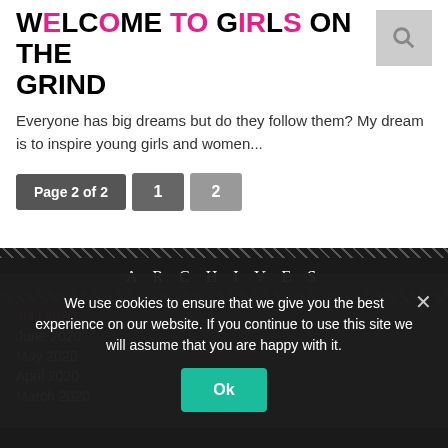WELCOME TO GIRLS ON THE GRIND
Everyone has big dreams but do they follow them? My dream is to inspire young girls and women...
Page 2 of 2  1  2
ARCHIVES
July 2020
June 2020
May 2020
April 2020
March 2020
We use cookies to ensure that we give you the best experience on our website. If you continue to use this site we will assume that you are happy with it.
Ok